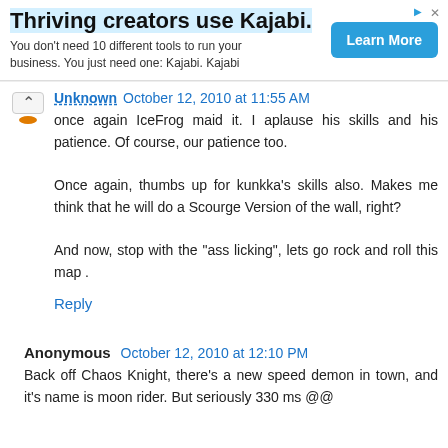[Figure (other): Advertisement banner for Kajabi with bold title 'Thriving creators use Kajabi.', subtitle text, and a blue 'Learn More' button]
Unknown October 12, 2010 at 11:55 AM
once again IceFrog maid it. I aplause his skills and his patience. Of course, our patience too.

Once again, thumbs up for kunkka's skills also. Makes me think that he will do a Scourge Version of the wall, right?

And now, stop with the "ass licking", lets go rock and roll this map .
Reply
Anonymous October 12, 2010 at 12:10 PM
Back off Chaos Knight, there's a new speed demon in town, and it's name is moon rider. But seriously 330 ms @@